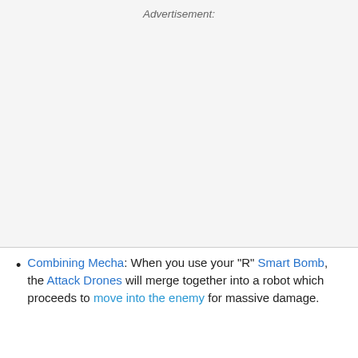Advertisement:
[Figure (other): Advertisement placeholder area (blank gray rectangle)]
Combining Mecha: When you use your "R" Smart Bomb, the Attack Drones will merge together into a robot which proceeds to move into the enemy for massive damage.